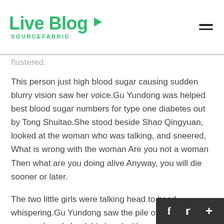Live Blog SOURCEFABRIC
flustered.
This person just high blood sugar causing sudden blurry vision saw her voice.Gu Yundong was helped best blood sugar numbers for type one diabetes out by Tong Shuitao.She stood beside Shao Qingyuan, looked at the woman who was talking, and sneered, What is wrong with the woman Are you not a woman Then what are you doing alive Anyway, you will die sooner or later.
The two little girls were talking head to head, whispering.Gu Yundong saw the pile of ingredients prepared, and shook his head with a smile.Yang Liu, who was standing next to her, 2021 Blood Sugar Levels Chart jinova blood sugar medicine said, This girl got up best blood sugar numbers for diabetes early in the morning and was not afraid